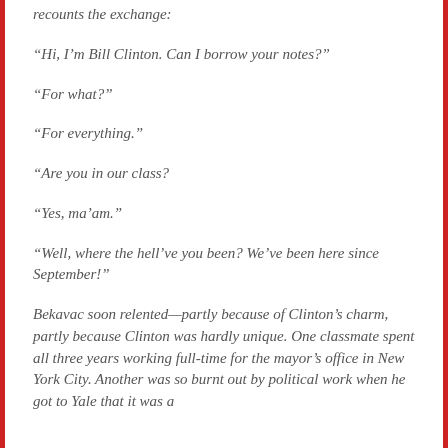recounts the exchange:
“Hi, I’m Bill Clinton. Can I borrow your notes?”
“For what?”
“For everything.”
“Are you in our class?
“Yes, ma’am.”
“Well, where the hell’ve you been? We’ve been here since September!”
Bekavac soon relented—partly because of Clinton’s charm, partly because Clinton was hardly unique. One classmate spent all three years working full-time for the mayor’s office in New York City. Another was so burnt out by political work when he got to Yale that it was a